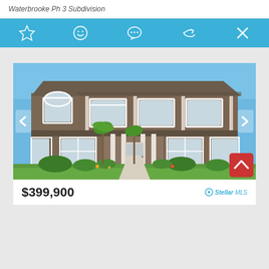Waterbrooke Ph 3 Subdivision
[Figure (screenshot): Icon toolbar with star (favorite), smiley face, chat bubble, share, and close (X) icons on a blue background]
[Figure (photo): Exterior photo of a two-story brownish-tan townhouse community with white trim, front porch, landscaping, green lawn, palm trees, and blue sky. Navigation arrows on left and right.]
$399,900
StellarMLS